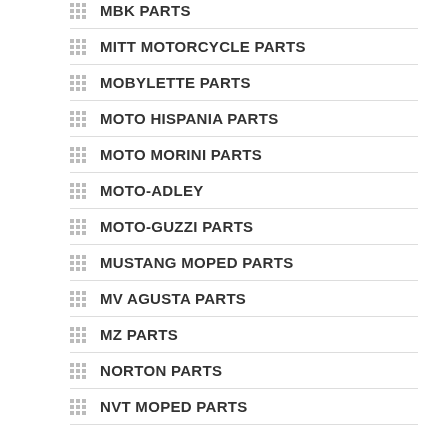MBK PARTS
MITT MOTORCYCLE PARTS
MOBYLETTE PARTS
MOTO HISPANIA PARTS
MOTO MORINI PARTS
MOTO-ADLEY
MOTO-GUZZI PARTS
MUSTANG MOPED PARTS
MV AGUSTA PARTS
MZ PARTS
NORTON PARTS
NVT MOPED PARTS